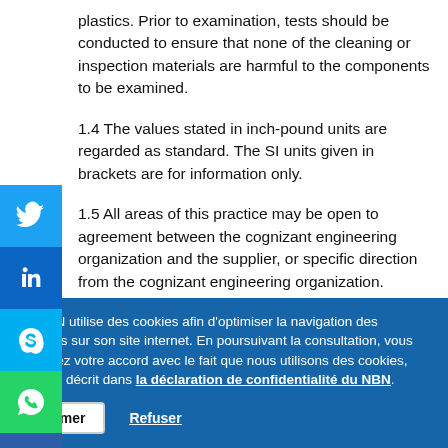plastics. Prior to examination, tests should be conducted to ensure that none of the cleaning or inspection materials are harmful to the components to be examined.
1.4 The values stated in inch-pound units are regarded as standard. The SI units given in brackets are for information only.
1.5 All areas of this practice may be open to agreement between the cognizant engineering organization and the supplier, or specific direction from the cognizant engineering organization.
1.6 This standard does not purport to address all of the safety concerns, if any, associated with its use. It
Le NBN utilise des cookies afin d'optimiser la navigation des visiteurs sur son site internet. En poursuivant la consultation, vous marquez votre accord avec le fait que nous utilisons des cookies, comme décrit dans la déclaration de confidentialité du NBN.